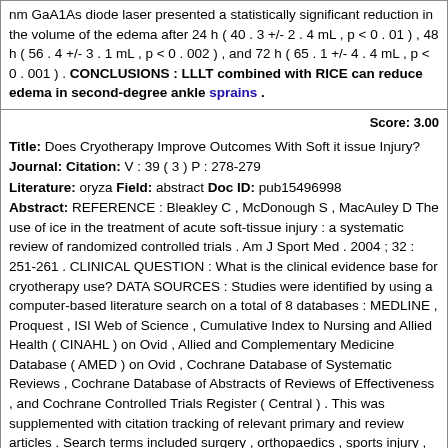nm GaA1As diode laser presented a statistically significant reduction in the volume of the edema after 24 h ( 40 . 3 +/- 2 . 4 mL , p < 0 . 01 ) , 48 h ( 56 . 4 +/- 3 . 1 mL , p < 0 . 002 ) , and 72 h ( 65 . 1 +/- 4 . 4 mL , p < 0 . 001 ) . CONCLUSIONS : LLLT combined with RICE can reduce edema in second-degree ankle sprains .
Score: 3.00
Title: Does Cryotherapy Improve Outcomes With Soft it issue Injury?
Journal: Citation: V : 39 ( 3 ) P : 278-279
Literature: oryza Field: abstract Doc ID: pub15496998
Abstract: REFERENCE : Bleakley C , McDonough S , MacAuley D The use of ice in the treatment of acute soft-tissue injury : a systematic review of randomized controlled trials . Am J Sport Med . 2004 ; 32 : 251-261 . CLINICAL QUESTION : What is the clinical evidence base for cryotherapy use? DATA SOURCES : Studies were identified by using a computer-based literature search on a total of 8 databases : MEDLINE , Proquest , ISI Web of Science , Cumulative Index to Nursing and Allied Health ( CINAHL ) on Ovid , Allied and Complementary Medicine Database ( AMED ) on Ovid , Cochrane Database of Systematic Reviews , Cochrane Database of Abstracts of Reviews of Effectiveness , and Cochrane Controlled Trials Register ( Central ) . This was supplemented with citation tracking of relevant primary and review articles . Search terms included surgery , orthopaedics , sports injury , soft it issue injury , sprains and strains , contusions , athletic injury , acute , compression , cryotherapy , ice , RICE , andcold . STUDY SELECTION : To be included in the review , each study had to fulfill the following conditions : be a randomized , controlled trial of human subjects ; be published in English as a full paper ; include patients recovering from acute soft it issue or orthopaedic surgical interventions